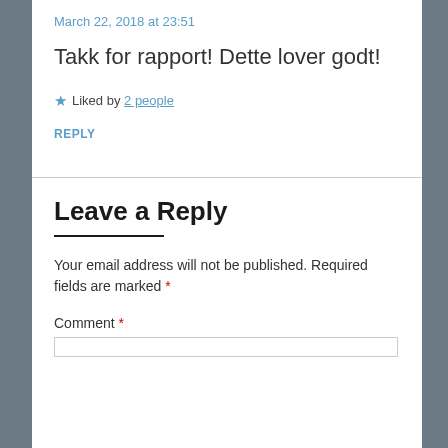March 22, 2018 at 23:51
Takk for rapport! Dette lover godt!
★ Liked by 2 people
REPLY
Leave a Reply
Your email address will not be published. Required fields are marked *
Comment *